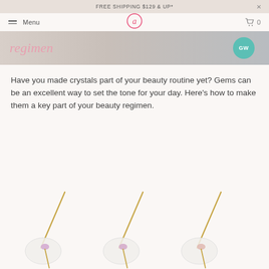FREE SHIPPING $129 & UP*
Menu
[Figure (photo): Hero banner showing the word 'regimen' in pink italic script with a teal circular GW badge on the right, over a gray/beige background]
Have you made crystals part of your beauty routine yet? Gems can be an excellent way to set the tone for your day. Here's how to make them a key part of your beauty regimen.
[Figure (photo): Three crystal/gem pin-on-circle product photos arranged side by side, each showing a gold pin with a small gem (purple/lavender tones) resting on a circular transparent disc, on a white/cream background]